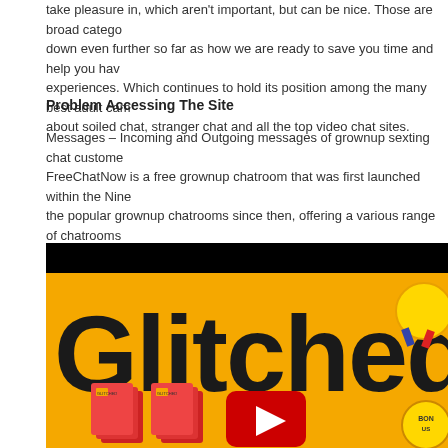take pleasure in, which aren't important, but can be nice. Those are broad categories that break down even further so far as how we are ready to save you time and help you have higher experiences. Which continues to hold its position among the many best adult cam sites. We write about soiled chat, stranger chat and all the top video chat sites.
Problem Accessing The Site
Messages – Incoming and Outgoing messages of grownup sexting chat customers. FreeChatNow is a free grownup chatroom that was first launched within the Nineties and one of the popular grownup chatrooms since then, offering a various range of chatrooms for various preferences and kinks. This web site is using a safety service to protect itself from
[Figure (screenshot): Screenshot of a 'Glitched' branded banner image with yellow background, large bold black text reading 'Glitched', product boxes, a YouTube play button, and a bonus seal badge in the corner.]